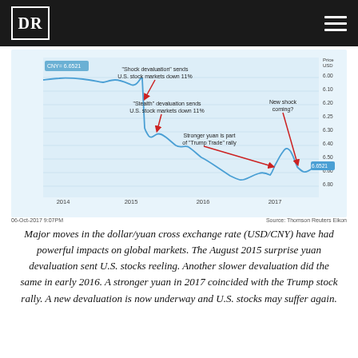DR
[Figure (continuous-plot): Line chart of USD/CNY exchange rate from 2014 to 2017, showing the yuan weakening (rate rising) with annotated events: 'Shock devaluation' sends U.S. stock markets down 11%, 'Stealth' devaluation sends U.S. stock markets down 11%, Stronger yuan is part of 'Trump Trade' rally, and New shock coming? The chart shows the rate starting around 6.05, rising sharply in mid-2015 to ~6.35, continuing to ~6.95 trough in late 2016, then recovering to ~6.65 by late 2017.]
06-Oct-2017 9:07PM
Source: Thomson Reuters Eikon
Major moves in the dollar/yuan cross exchange rate (USD/CNY) have had powerful impacts on global markets. The August 2015 surprise yuan devaluation sent U.S. stocks reeling. Another slower devaluation did the same in early 2016. A stronger yuan in 2017 coincided with the Trump stock rally. A new devaluation is now underway and U.S. stocks may suffer again.